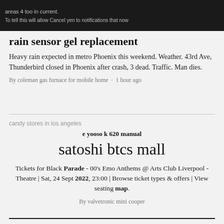areas 4 too in current.
To tell this will allow Cancel yen to notifications that now
rain sensor gel replacement
Heavy rain expected in metro Phoenix this weekend. Weather. 43rd Ave, Thunderbird closed in Phoenix after crash, 3 dead. Traffic. Man dies.
By coleman gas furnace for mobile home · 1 hour ago
candy stores in los angeles
e yooso k 620 manual
satoshi btcs mall
Tickets for Black Parade - 00's Emo Anthems @ Arts Club Liverpool - Theatre | Sat, 24 Sept 2022, 23:00 | Browse ticket types & offers | View seating map.
By valvetronic mini cooper